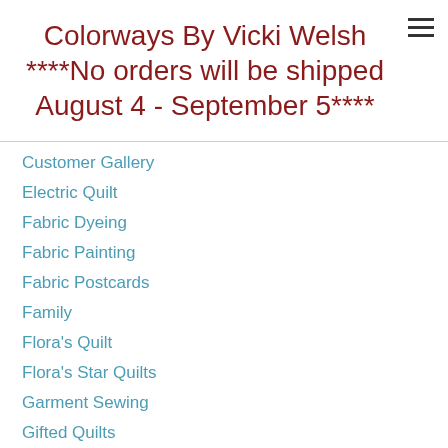Colorways By Vicki Welsh ****No orders will be shipped August 4 - September 5****
Customer Gallery
Electric Quilt
Fabric Dyeing
Fabric Painting
Fabric Postcards
Family
Flora's Quilt
Flora's Star Quilts
Garment Sewing
Gifted Quilts
Glass
Kaleidoscope Quilts
Longarm Quilting